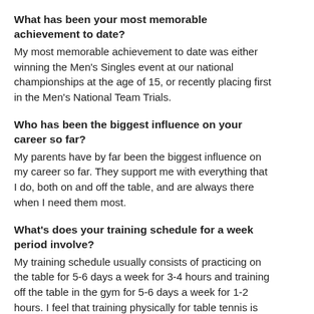What has been your most memorable achievement to date?
My most memorable achievement to date was either winning the Men's Singles event at our national championships at the age of 15, or recently placing first in the Men's National Team Trials.
Who has been the biggest influence on your career so far?
My parents have by far been the biggest influence on my career so far. They support me with everything that I do, both on and off the table, and are always there when I need them most.
What's does your training schedule for a week period involve?
My training schedule usually consists of practicing on the table for 5-6 days a week for 3-4 hours and training off the table in the gym for 5-6 days a week for 1-2 hours. I feel that training physically for table tennis is just as important as the actual practice on the table.